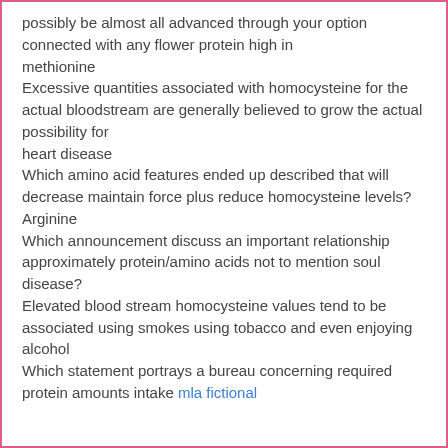possibly be almost all advanced through your option connected with any flower protein high in
methionine
Excessive quantities associated with homocysteine for the actual bloodstream are generally believed to grow the actual possibility for
heart disease
Which amino acid features ended up described that will decrease maintain force plus reduce homocysteine levels?
Arginine
Which announcement discuss an important relationship approximately protein/amino acids not to mention soul disease?
Elevated blood stream homocysteine values tend to be associated using smokes using tobacco and even enjoying alcohol
Which statement portrays a bureau concerning required protein amounts intake mla fictional